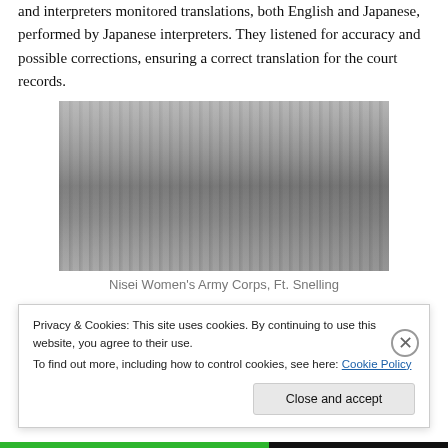and interpreters monitored translations, both English and Japanese, performed by Japanese interpreters. They listened for accuracy and possible corrections, ensuring a correct translation for the court records.
[Figure (photo): Black and white photograph of a large group of women in uniform standing in rows in front of a long low building — Nisei Women's Army Corps at Ft. Snelling.]
Nisei Women's Army Corps, Ft. Snelling
The postwar contribution of the MIS included women:
Privacy & Cookies: This site uses cookies. By continuing to use this website, you agree to their use.
To find out more, including how to control cookies, see here: Cookie Policy